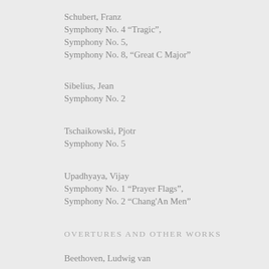Schubert, Franz
Symphony No. 4 “Tragic”,
Symphony No. 5,
Symphony No. 8, “Great C Major”
Sibelius, Jean
Symphony No. 2
Tschaikowski, Pjotr
Symphony No. 5
Upadhyaya, Vijay
Symphony No. 1 “Prayer Flags”,
Symphony No. 2 “Chang'An Men”
OVERTURES AND OTHER WORKS
Beethoven, Ludwig van